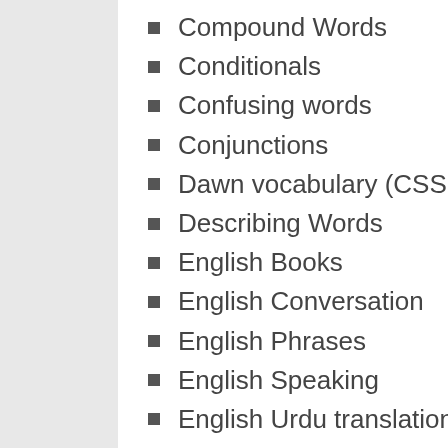Compound Words
Conditionals
Confusing words
Conjunctions
Dawn vocabulary (CSS point)*
Describing Words
English Books
English Conversation
English Phrases
English Speaking
English Urdu translation rules
English urdu vocabulary
English/Urdu Sentences
Example Sentences
Flowers
Formal Informal Words
Fruits